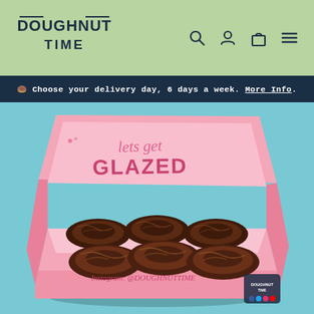[Figure (logo): Doughnut Time logo in dark navy bold uppercase text on green background]
[Figure (infographic): Navigation icons: search (magnifying glass), user/account, shopping bag, and hamburger menu on green header bar]
🍩 Choose your delivery day, 6 days a week. More Info.
[Figure (photo): An open pink Doughnut Time box containing 6 chocolate glazed donuts on a light blue background. The box lid reads 'let's get GLAZED' in pink and dark writing. The box front reads 'Instagram: @DOUGHNUTTIME']